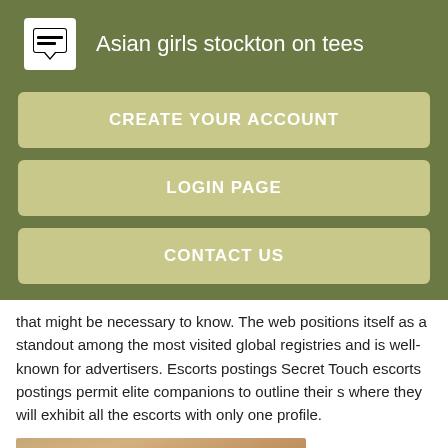Asian girls stockton on tees
CREATE YOUR ACCOUNT
LOGIN PAGE
CONTACT US
that might be necessary to know. The web positions itself as a standout among the most visited global registries and is well-known for advertisers. Escorts postings Secret Touch escorts postings permit elite companions to outline their s where they will exhibit all the escorts with only one profile.
[Figure (photo): Close-up photo, partial view]